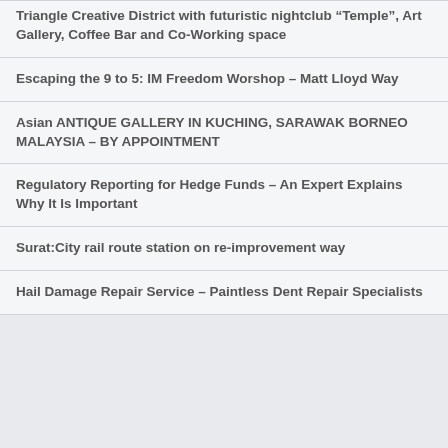Triangle Creative District with futuristic nightclub “Temple”, Art Gallery, Coffee Bar and Co-Working space
Escaping the 9 to 5: IM Freedom Worshop – Matt Lloyd Way
Asian ANTIQUE GALLERY IN KUCHING, SARAWAK BORNEO MALAYSIA – BY APPOINTMENT
Regulatory Reporting for Hedge Funds – An Expert Explains Why It Is Important
Surat:City rail route station on re-improvement way
Hail Damage Repair Service – Paintless Dent Repair Specialists